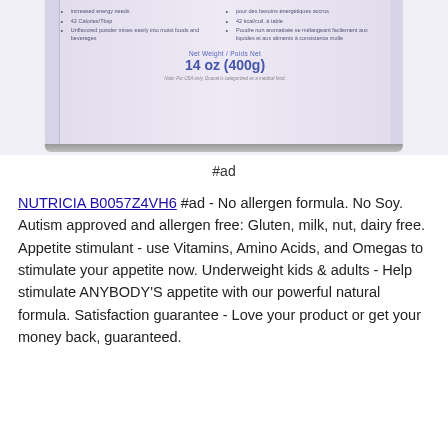[Figure (photo): Bottom portion of a Duocal nutritional supplement can showing bilingual label with bullet points about increased energy needs, 42 Calories/Tbsp, unflavored powder. Net Weight / Poids Net 14 oz (400g). Note: For USA only, Duocal is categorized as a medical food.]
#ad
NUTRICIA B0057Z4VH6 #ad - No allergen formula. No Soy. Autism approved and allergen free: Gluten, milk, nut, dairy free. Appetite stimulant - use Vitamins, Amino Acids, and Omegas to stimulate your appetite now. Underweight kids & adults - Help stimulate ANYBODY'S appetite with our powerful natural formula. Satisfaction guarantee - Love your product or get your money back, guaranteed.